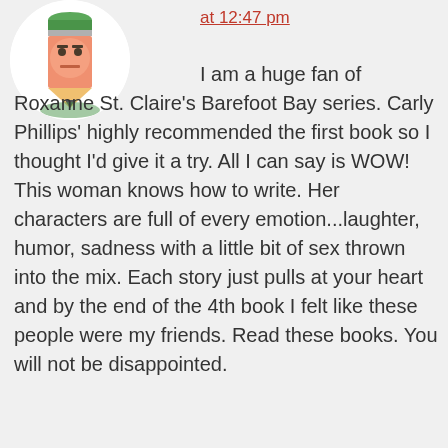[Figure (illustration): Cartoon avatar of a pencil character with a pink/salmon colored pencil body, green eraser top, and a neutral expression, shown in a circular frame]
at 12:47 pm
I am a huge fan of Roxanne St. Claire's Barefoot Bay series. Carly Phillips' highly recommended the first book so I thought I'd give it a try. All I can say is WOW! This woman knows how to write. Her characters are full of every emotion...laughter, humor, sadness with a little bit of sex thrown into the mix. Each story just pulls at your heart and by the end of the 4th book I felt like these people were my friends. Read these books. You will not be disappointed.